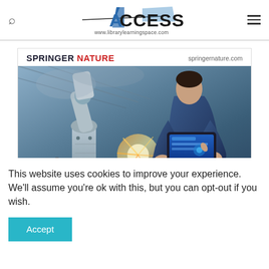ACCESS www.librarylearningspace.com
[Figure (photo): Springer Nature advertisement banner showing a robotic arm and a person using a tablet in an industrial setting. Header shows 'SPRINGER NATURE springernature.com']
This website uses cookies to improve your experience. We'll assume you're ok with this, but you can opt-out if you wish.
Accept